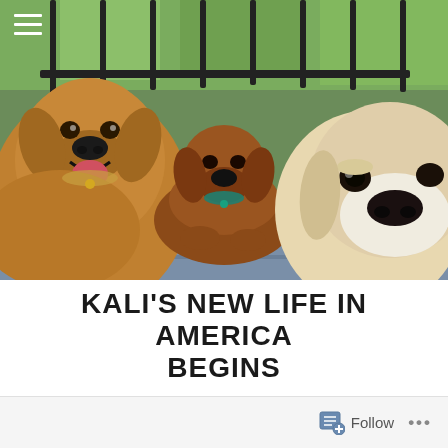[Figure (photo): Three golden retrievers lying on a deck. Left dog is a medium-gold smiling golden retriever. Center is a darker reddish-brown golden retriever lying down with a teal collar. Right is a light cream/white muzzled older golden retriever. Black metal railing and green trees visible in background.]
KALI'S NEW LIFE IN AMERICA BEGINS
MAY 26, 2014 • WAGGING TALES
[Figure (other): Footer bar with Follow button (notepad icon) and ellipsis menu]